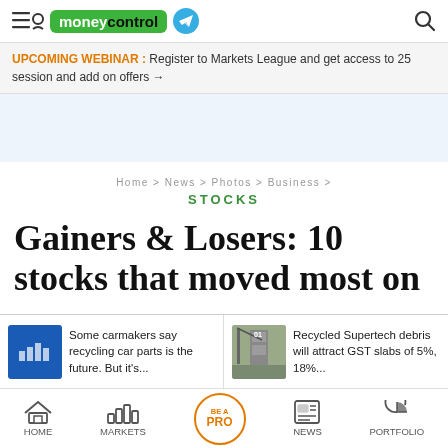moneycontrol
UPCOMING WEBINAR : Register to Markets League and get access to 25 session and add on offers →
[Figure (other): Advertisement placeholder area (light blue background)]
Home > News > Photos > Business > STOCKS
Gainers & Losers: 10 stocks that moved most on
Some carmakers say recycling car parts is the future. But it's...
Recycled Supertech debris will attract GST slabs of 5%, 18%...
HOME  MARKETS  BE A PRO  NEWS  PORTFOLIO